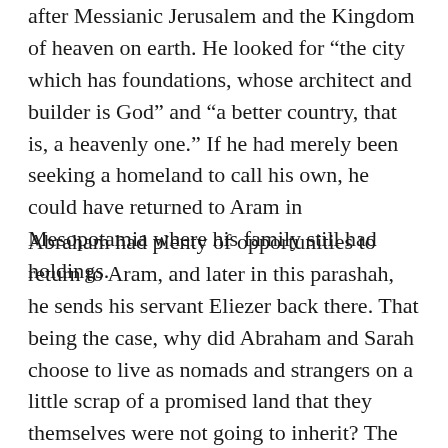after Messianic Jerusalem and the Kingdom of heaven on earth. He looked for “the city which has foundations, whose architect and builder is God” and “a better country, that is, a heavenly one.” If he had merely been seeking a homeland to call his own, he could have returned to Aram in Mesopotamia where his family still had holdings.
Abraham had plenty of opportunities to return to Aram, and later in this parashah, he sends his servant Eliezer back there. That being the case, why did Abraham and Sarah choose to live as nomads and strangers on a little scrap of a promised land that they themselves were not going to inherit? The author of the epistle to the Hebrews says, “These died in faith, without receiving the promises, but having